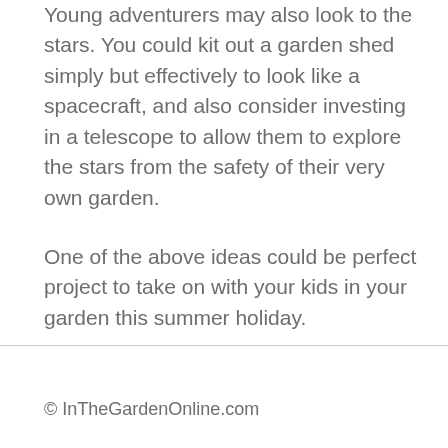Young adventurers may also look to the stars. You could kit out a garden shed simply but effectively to look like a spacecraft, and also consider investing in a telescope to allow them to explore the stars from the safety of their very own garden.
One of the above ideas could be perfect project to take on with your kids in your garden this summer holiday.
© InTheGardenOnline.com